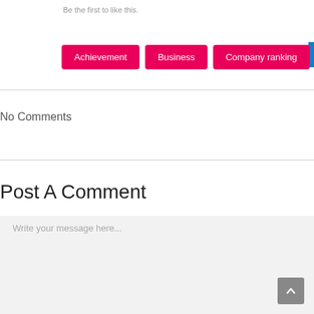Be the first to like this.
Achievement
Business
Company ranking
No Comments
Post A Comment
Write your message here...